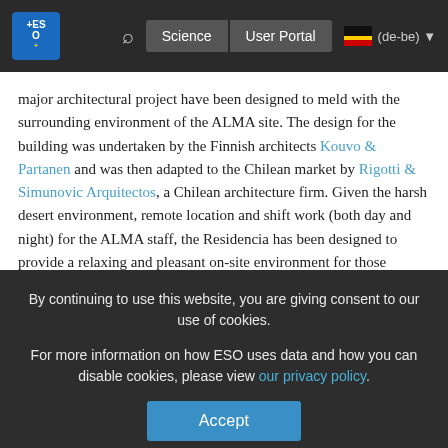ESO Science User Portal (de-be)
major architectural project have been designed to meld with the surrounding environment of the ALMA site. The design for the building was undertaken by the Finnish architects Kouvo & Partanen and was then adapted to the Chilean market by Rigotti & Simunovic Arquitectos, a Chilean architecture firm. Given the harsh desert environment, remote location and shift work (both day and night) for the ALMA staff, the Residencia has been designed to provide a relaxing and pleasant on-site environment for those staying there, who come from as many as 20 countries worldwide.
The Residencia has two main zones: common areas and dormitory areas. The design is modular, allowing additional accommodation to be added if necessary. Initially there will be 120 rooms extending across six buildings. The common areas
By continuing to use this website, you are giving consent to our use of cookies.
For more information on how ESO uses data and how you can disable cookies, please view our privacy policy.
Accept